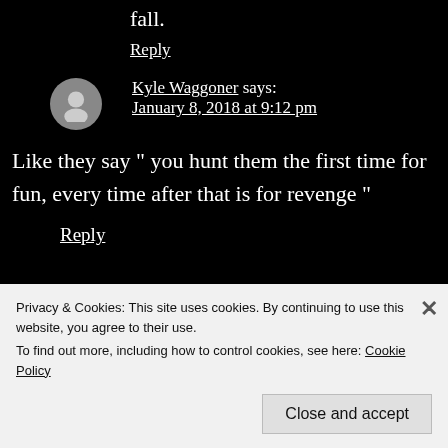fall.
Reply
Kyle Waggoner says:
January 8, 2018 at 9:12 pm
Like they say " you hunt them the first time for fun, every time after that is for revenge "
Reply
Privacy & Cookies: This site uses cookies. By continuing to use this website, you agree to their use.
To find out more, including how to control cookies, see here: Cookie Policy
Close and accept